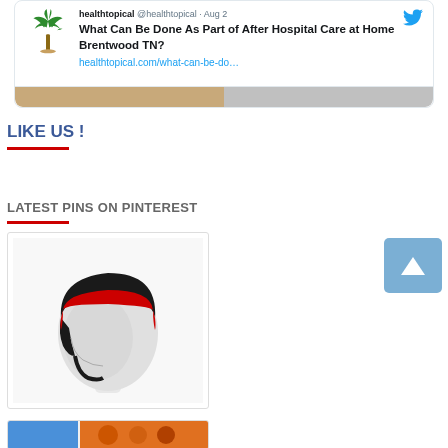[Figure (screenshot): Twitter card showing a tweet from healthtopical with palm tree logo, tweet text 'What Can Be Done As Part of After Hospital Care at Home Brentwood TN?' and link healthtopical.com/what-can-be-do… with Twitter bird icon]
LIKE US !
LATEST PINS ON PINTEREST
[Figure (photo): Photo of a mannequin head wearing a black and red helmet/headgear, shown in profile against a white background]
[Figure (photo): Partially visible photo at the bottom of the page showing colorful food items]